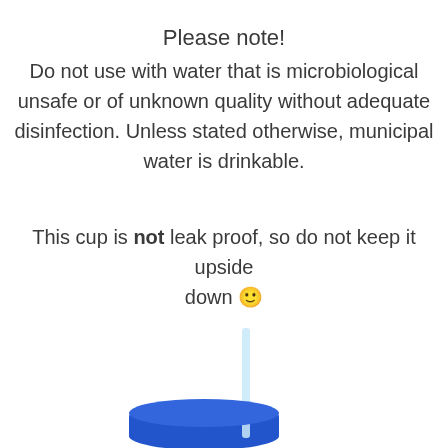Please note!
Do not use with water that is microbiological unsafe or of unknown quality without adequate disinfection. Unless stated otherwise, municipal water is drinkable.
This cup is not leak proof, so do not keep it upside down 🙂
[Figure (photo): Photo of a blue cup with a straw, shown from above at an angle with a clear straw inserted.]